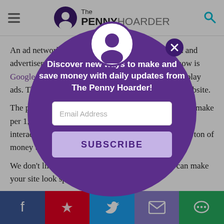The PENNY HOARDER
An ad network acts as the middleman between you and advertisers. One of the biggest ad networks right now is Google AdSense, which automatically serves up display ads. Those are the ads you see along the sides of a website.
The problem is there's no way to say how much you'll make per 1,000 visitors, but you'll get paid when a reader interacts with the ad. The reality is, you won't make a ton of money this way, but it's a great start.
We don't like display ads. This is distracting and can make your site look spammy.
[Figure (screenshot): Modal popup overlay with The Penny Hoarder branding. Purple circle modal with avatar icon at top, close button (X), headline text 'Discover new ways to make and save money with daily updates from The Penny Hoarder!', email address input field, and SUBSCRIBE button.]
Social sharing bar: Facebook, Pinterest, Twitter, Email, Chat